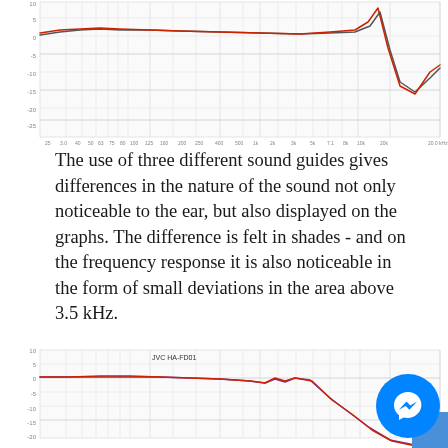[Figure (continuous-plot): Frequency response chart (top, partial view), showing two overlapping curves (red and dark/blue-grey) plotted on a logarithmic frequency axis. Y-axis appears to show dB values. Curves show variations with a notable dip and rise in the high-frequency region.]
The use of three different sound guides gives differences in the nature of the sound not only noticeable to the ear, but also displayed on the graphs. The difference is felt in shades - and on the frequency response it is also noticeable in the form of small deviations in the area above 3.5 kHz.
[Figure (continuous-plot): Frequency response chart labeled 'JVC HA-FD01' showing two overlapping curves (red and blue/purple) on a logarithmic frequency axis. The response is relatively flat around 0 dB in the low-mid range, then dips and shows a bump around 3-5 kHz, then drops significantly in the high frequencies.]